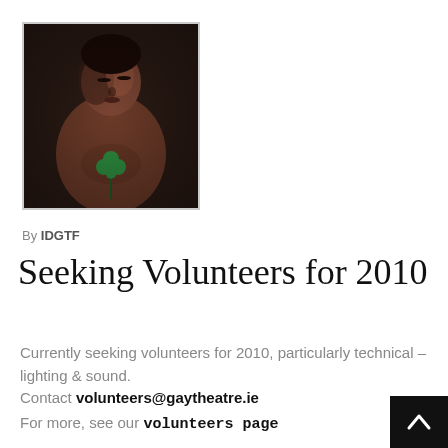[Figure (photo): A shirtless man looking downward, holding a green flower, dark dramatic lighting]
By IDGTF
Seeking Volunteers for 2010
Currently seeking volunteers for 2010, particularly technical – lighting & sound.
Contact volunteers@gaytheatre.ie
For more, see our volunteers page